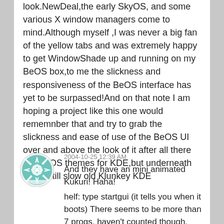look.NewDeal,the early SkyOS, and some various X window managers come to mind.Although myself ,I was never a big fan of the yellow tabs and was extremely happy to get WindowShade up and running on my BeOS box,to me the slickness and responsiveness of the BeOS interface has yet to be surpassed!And on that note I am hoping a project like this one would rememnber that and try to grab the slickness and ease of use of the BeOS UI over and above the look of it after all there are BeOS themes for KDE,but underneath all it's still slow old Klunkey KDE
[Figure (illustration): Circular avatar icon with teal/white geometric star pattern]
2004-10-25 12:39 AM
And they have an mini animated Kukuri! Haha!
helf: type startgui (it tells you when it boots) There seems to be more than 7 progs, haven't counted though.